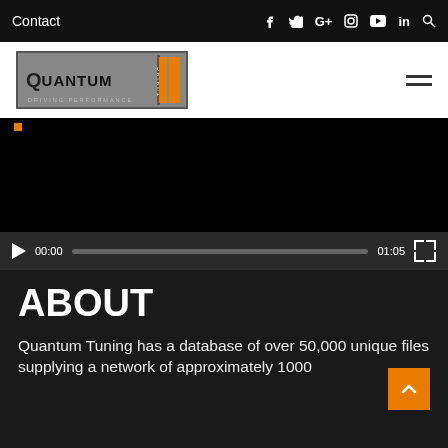Contact | Social media icons (Facebook, Twitter, G+, Instagram, YouTube, LinkedIn, Search)
[Figure (logo): Quantum Tuning - Driving Performance logo with orange bars]
[Figure (screenshot): Embedded video player with black screen, play button, time 00:00 / 01:05, and fullscreen button]
ABOUT
Quantum Tuning has a database of over 50,000 unique files supplying a network of approximately 1000